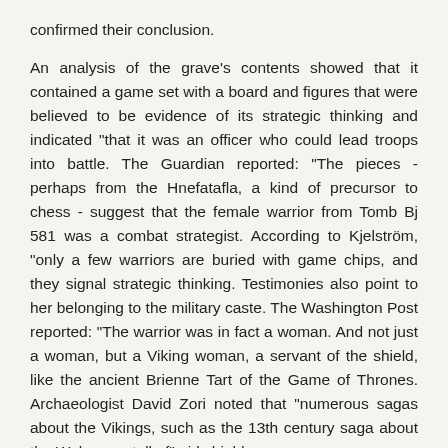confirmed their conclusion.
An analysis of the grave's contents showed that it contained a game set with a board and figures that were believed to be evidence of its strategic thinking and indicated "that it was an officer who could lead troops into battle. The Guardian reported: "The pieces - perhaps from the Hnefatafla, a kind of precursor to chess - suggest that the female warrior from Tomb Bj 581 was a combat strategist. According to Kjelström, "only a few warriors are buried with game chips, and they signal strategic thinking. Testimonies also point to her belonging to the military caste. The Washington Post reported: "The warrior was in fact a woman. And not just a woman, but a Viking woman, a servant of the shield, like the ancient Brienne Tart of the Game of Thrones. Archaeologist David Zori noted that "numerous sagas about the Vikings, such as the 13th century saga about the Wolsungs, tell of" girl shields